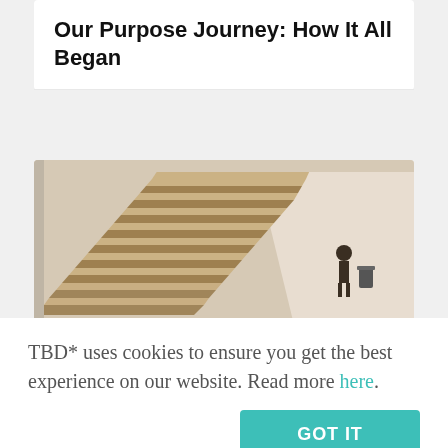Our Purpose Journey: How It All Began
[Figure (photo): Photo of wide stone staircase with a person standing at the top right corner, warm beige/tan tones]
WORK SMARTER
Are You Searching for Your
TBD* uses cookies to ensure you get the best experience on our website. Read more here.
GOT IT